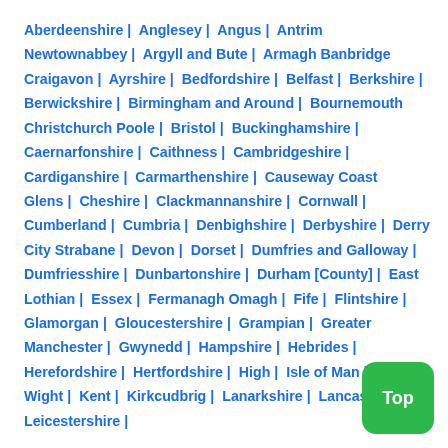Aberdeenshire | Anglesey | Angus | Antrim Newtownabbey | Argyll and Bute | Armagh Banbridge Craigavon | Ayrshire | Bedfordshire | Belfast | Berkshire | Berwickshire | Birmingham and Around | Bournemouth Christchurch Poole | Bristol | Buckinghamshire | Caernarfonshire | Caithness | Cambridgeshire | Cardiganshire | Carmarthenshire | Causeway Coast Glens | Cheshire | Clackmannanshire | Cornwall | Cumberland | Cumbria | Denbighshire | Derbyshire | Derry City Strabane | Devon | Dorset | Dumfries and Galloway | Dumfriesshire | Dunbartonshire | Durham [County] | East Lothian | Essex | Fermanagh Omagh | Fife | Flintshire | Glamorgan | Gloucestershire | Grampian | Greater Manchester | Gwynedd | Hampshire | Hebrides | Herefordshire | Hertfordshire | Highland | Isle of Man | Isle of Wight | Kent | Kirkcudbrightshire | Lanarkshire | Lancashire | Leicestershire